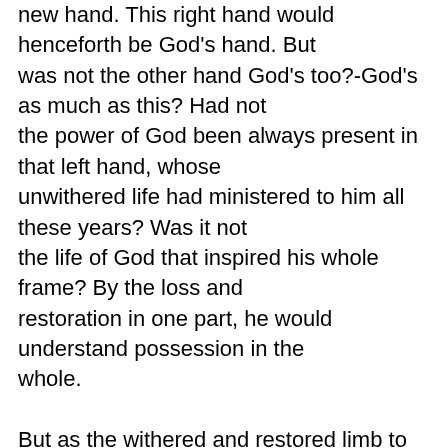new hand. This right hand would henceforth be God's hand. But was not the other hand God's too?-God's as much as this? Had not the power of God been always present in that left hand, whose unwithered life had ministered to him all these years? Was it not the life of God that inspired his whole frame? By the loss and restoration in one part, he would understand possession in the whole.

But as the withered and restored limb to the man, so is the maimed and healed man to his brethren. In every